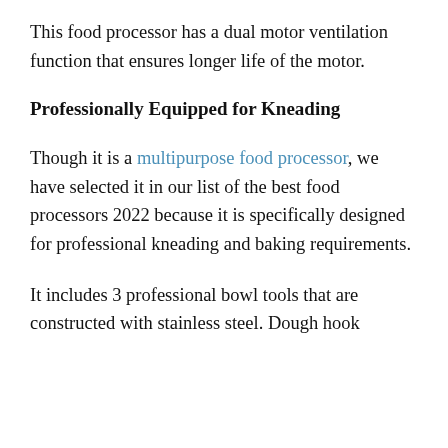This food processor has a dual motor ventilation function that ensures longer life of the motor.
Professionally Equipped for Kneading
Though it is a multipurpose food processor, we have selected it in our list of the best food processors 2022 because it is specifically designed for professional kneading and baking requirements.
It includes 3 professional bowl tools that are constructed with stainless steel. Dough hook